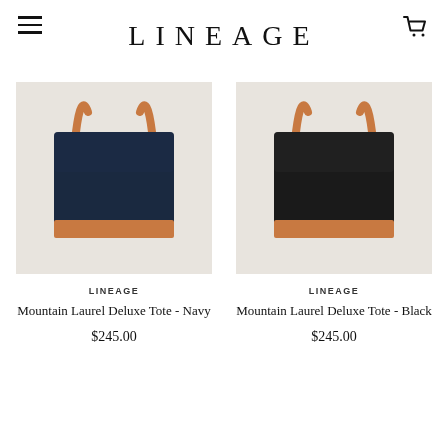LINEAGE
[Figure (photo): Navy tote bag with tan leather handles and tan leather bottom trim on a light background]
LINEAGE
Mountain Laurel Deluxe Tote - Navy
$245.00
[Figure (photo): Black tote bag with tan leather handles and tan leather bottom trim on a light background]
LINEAGE
Mountain Laurel Deluxe Tote - Black
$245.00